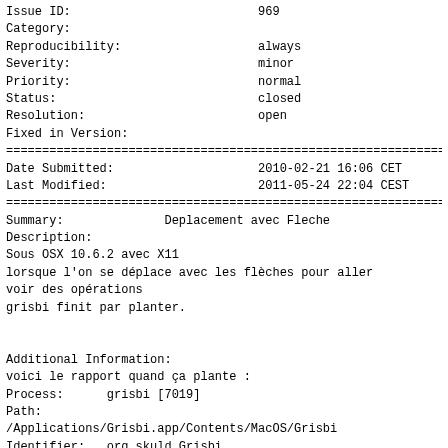| Issue ID: | 969 |
| Category: |  |
| Reproducibility: | always |
| Severity: | minor |
| Priority: | normal |
| Status: | closed |
| Resolution: | open |
| Fixed in Version: |  |
================================================================
| Date Submitted: | 2010-02-21 16:06 CET |
| Last Modified: | 2011-05-24 22:04 CEST |
================================================================
Summary:              Deplacement avec Fleche
Description:
Sous OSX 10.6.2 avec X11
lorsque l'on se déplace avec les flèches pour aller
voir des opérations
grisbi finit par planter.


Additional Information:
voici le rapport quand ça plante :
Process:      grisbi [7019]
Path:
/Applications/Grisbi.app/Contents/MacOS/Grisbi
Identifier:   org.skuld.Grisbi
Version:      ??? (???)
Code Type:    X86 (Native)
Parent Process: launchd [85]